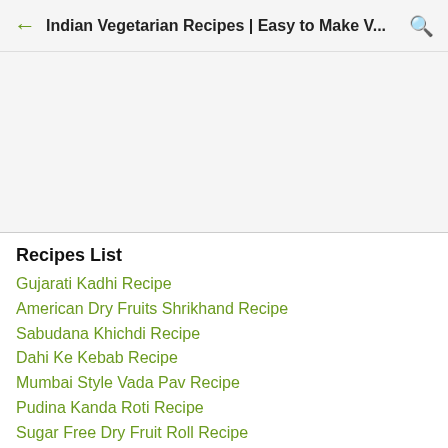Indian Vegetarian Recipes | Easy to Make V...
Recipes List
Gujarati Kadhi Recipe
American Dry Fruits Shrikhand Recipe
Sabudana Khichdi Recipe
Dahi Ke Kebab Recipe
Mumbai Style Vada Pav Recipe
Pudina Kanda Roti Recipe
Sugar Free Dry Fruit Roll Recipe
Gujarati Mohanthal Recipe
Methi Thepla Recipe
White Dhokla Recipe
Veg Hakka Noodles Recipe
Veg Fried Rice Recipe
Paneer Butter Masala Recipe